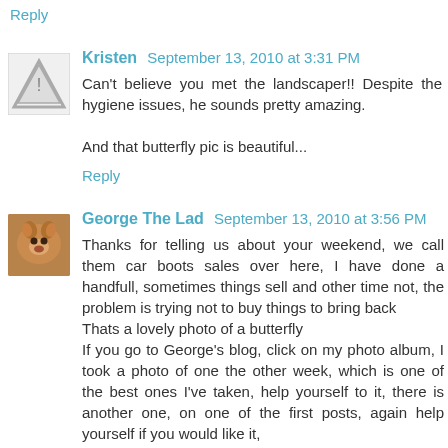Reply
Kristen  September 13, 2010 at 3:31 PM
Can't believe you met the landscaper!! Despite the hygiene issues, he sounds pretty amazing.

And that butterfly pic is beautiful...
Reply
George The Lad  September 13, 2010 at 3:56 PM
Thanks for telling us about your weekend, we call them car boots sales over here, I have done a handfull, sometimes things sell and other time not, the problem is trying not to buy things to bring back
Thats a lovely photo of a butterfly
If you go to George's blog, click on my photo album, I took a photo of one the other week, which is one of the best ones I've taken, help yourself to it, there is another one, on one of the first posts, again help yourself if you would like it,